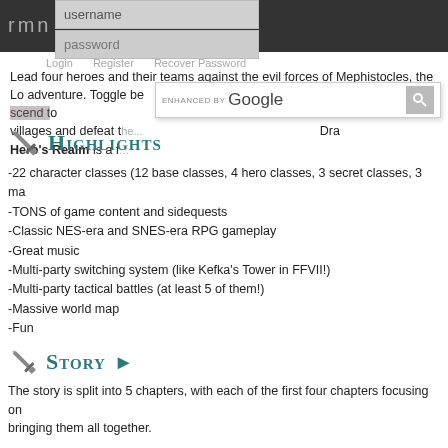rmn — username / password login bar
[Figure (screenshot): Login dropdown with username and password fields over a dark navigation bar]
[Figure (screenshot): Enhanced by Google search bar overlay]
Lead four heroes and their teams against the evil forces of Mephistocles, the Lo adventure. Toggle between the four heroes as you explore dungeons, ascend to villages and defeat t... Dra Hero's Realm is a f...
Highlights
-22 character classes (12 base classes, 4 hero classes, 3 secret classes, 3 ma
-TONS of game content and sidequests
-Classic NES-era and SNES-era RPG gameplay
-Great music
-Multi-party switching system (like Kefka's Tower in FFVII!)
-Multi-party tactical battles (at least 5 of them!)
-Massive world map
-Fun
Story
The story is split into 5 chapters, with each of the first four chapters focusing on bringing them all together.
Chapter 1: Won't Somebody Please Think of the Children?
Chapter 2: There is Something Fishy Going on...
Chapter 3: Land of the Rising Son
Chapter 4: True Calling
Chapter 5: The War on Terror